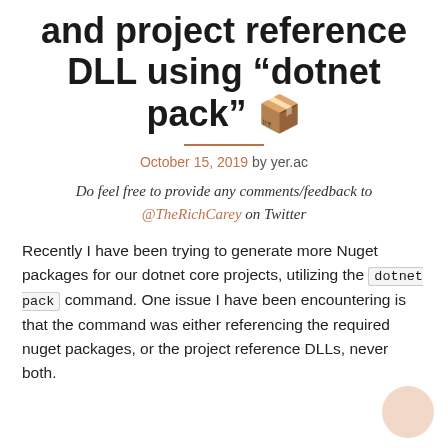and project reference DLL using “dotnet pack” 📦
October 15, 2019 by yer.ac
Do feel free to provide any comments/feedback to @TheRichCarey on Twitter
Recently I have been trying to generate more Nuget packages for our dotnet core projects, utilizing the dotnet pack command. One issue I have been encountering is that the command was either referencing the required nuget packages, or the project reference DLLs, never both.